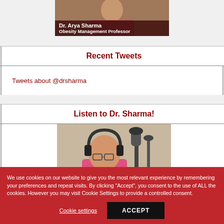[Figure (photo): Partially visible photo of Dr. Arya Sharma with overlay text 'Dr. Arya Sharma – Obesity Management Professor' in dark red banner]
Recent Tweets
Tweets about @drsharma
Listen to Dr. Sharma!
[Figure (photo): Photo of a man wearing headphones sitting in front of a microphone in a recording studio]
We use cookies on our website to give you the most relevant experience by remembering your preferences and repeat visits. By clicking "Accept", you consent to the use of ALL the cookies. However you may visit Cookie Settings to provide a controlled consent.